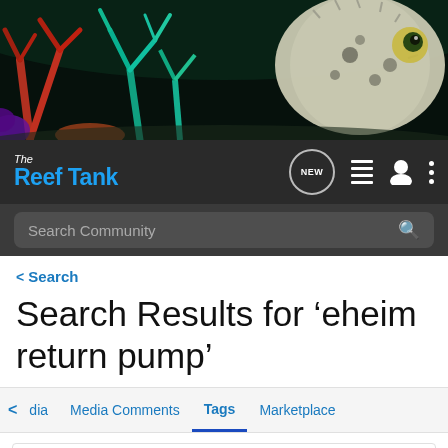[Figure (photo): Hero banner image showing coral reef with colorful corals and a pufferfish on the right side against a dark background]
The Reef Tank — navigation bar with logo, NEW chat bubble icon, list icon, user icon, and more options icon
Search Community — search bar
< Search
Search Results for ‘eheim return pump’
< dia  Media Comments  Tags  Marketplace
Search Tags